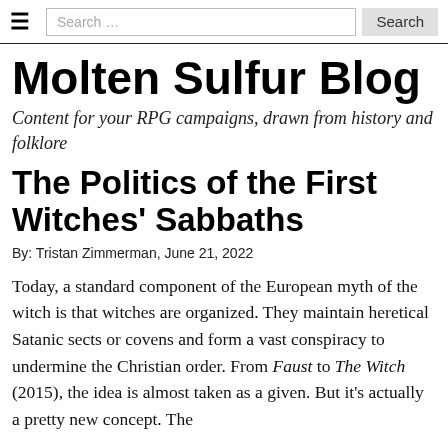≡  Search …  Search
Molten Sulfur Blog
Content for your RPG campaigns, drawn from history and folklore
The Politics of the First Witches' Sabbaths
By: Tristan Zimmerman, June 21, 2022
Today, a standard component of the European myth of the witch is that witches are organized. They maintain heretical Satanic sects or covens and form a vast conspiracy to undermine the Christian order. From Faust to The Witch (2015), the idea is almost taken as a given. But it's actually a pretty new concept. The